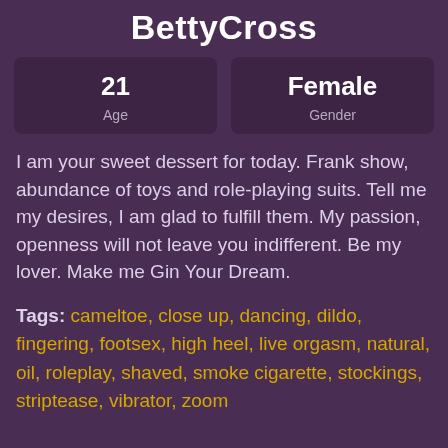BettyCross
| Age | Gender |
| --- | --- |
| 21 | Female |
I am your sweet dessert for today. Frank show, abundance of toys and role-playing suits. Tell me my desires, I am glad to fulfill them. My passion, openness will not leave you indifferent. Be my lover. Make me Gin Your Dream.
Tags: cameltoe, close up, dancing, dildo, fingering, footsex, high heel, live orgasm, natural, oil, roleplay, shaved, smoke cigarette, stockings, striptease, vibrator, zoom